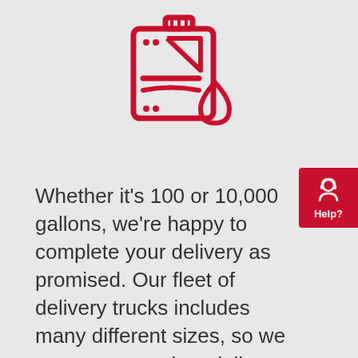[Figure (illustration): Red line-art icon of a fuel/gas canister with a liquid drop, representing fuel delivery]
Whether it’s 100 or 10,000 gallons, we’re happy to complete your delivery as promised. Our fleet of delivery trucks includes many different sizes, so we can accommodate delivery quantities of 100 gallons or more.